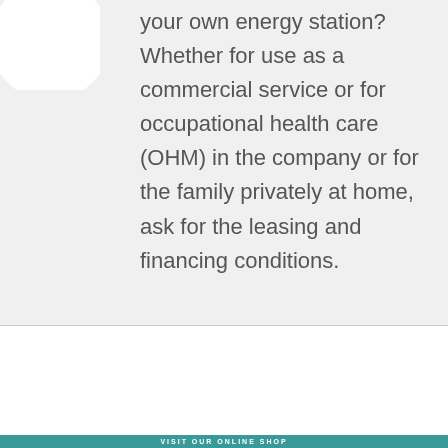your own energy station? Whether for use as a commercial service or for occupational health care (OHM) in the company or for the family privately at home, ask for the leasing and financing conditions.
VISIT OUR ONLINE SHOP